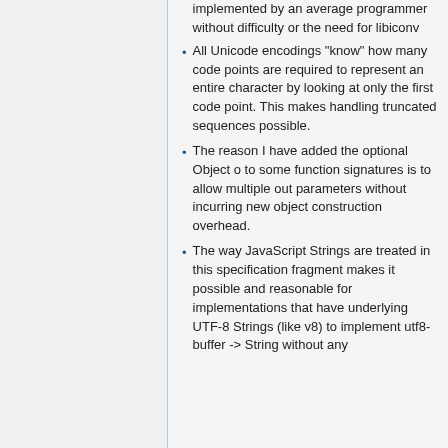implemented by an average programmer without difficulty or the need for libiconv
All Unicode encodings "know" how many code points are required to represent an entire character by looking at only the first code point. This makes handling truncated sequences possible.
The reason I have added the optional Object o to some function signatures is to allow multiple out parameters without incurring new object construction overhead.
The way JavaScript Strings are treated in this specification fragment makes it possible and reasonable for implementations that have underlying UTF-8 Strings (like v8) to implement utf8-buffer -> String without any